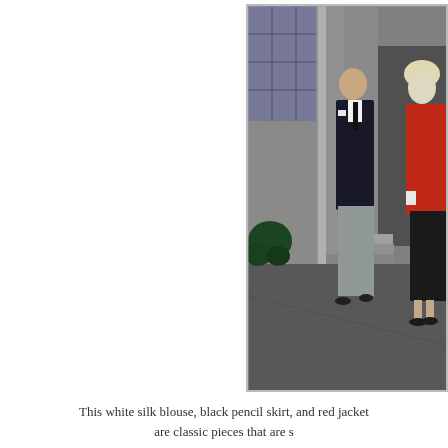[Figure (photo): A man in a dark navy suit jacket and grey trousers with a white shirt and black tie walks alongside a woman wearing a red jacket and black pencil skirt. They are walking in front of a stone building with large windows and stone pillars, on a paved sidewalk. There is a plant/bush visible to the left.]
This white silk blouse, black pencil skirt, and red jacket are classic pieces that are s